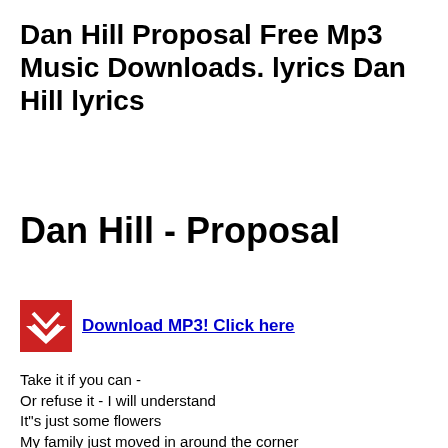Dan Hill Proposal Free Mp3 Music Downloads. lyrics Dan Hill lyrics
Dan Hill - Proposal
Download MP3! Click here
Take it if you can -
Or refuse it - I will understand
It"s just some flowers
My family just moved in around the corner
Will you be my friend
I touched her on the shoulder